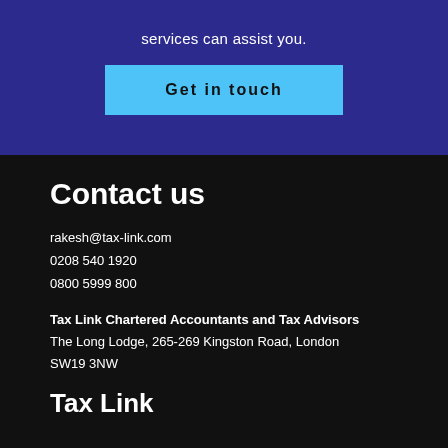services can assist you.
Get in touch
Contact us
rakesh@tax-link.com
0208 540 1920
0800 5999 800
Tax Link Chartered Accountants and Tax Advisors
The Long Lodge, 265-269 Kingston Road, London SW19 3NW
Tax Link